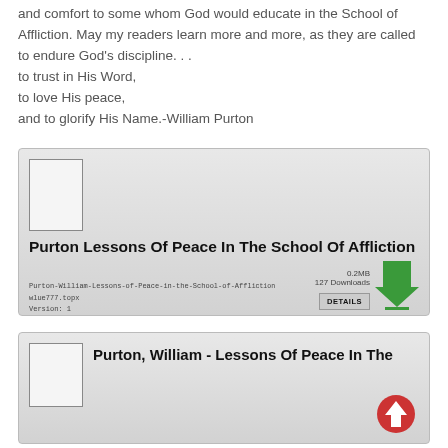and comfort to some whom God would educate in the School of Affliction. May my readers learn more and more, as they are called to endure God's discipline. . . to trust in His Word,
to love His peace,
and to glorify His Name.-William Purton
[Figure (screenshot): Document card for 'Purton Lessons Of Peace In The School Of Affliction' with thumbnail, filename, version, download count, DETAILS button, and green download arrow.]
[Figure (screenshot): Document card for 'Purton, William - Lessons Of Peace In The' with thumbnail and upload arrow circle icon.]